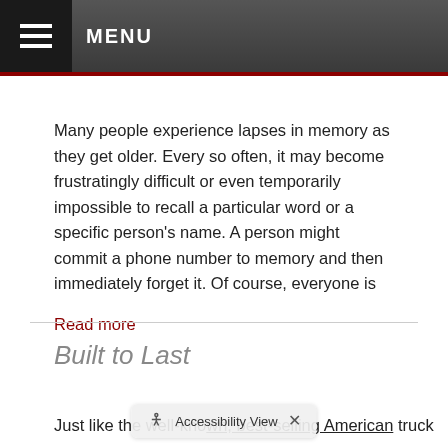MENU
Many people experience lapses in memory as they get older. Every so often, it may become frustratingly difficult or even temporarily impossible to recall a particular word or a specific person's name. A person might commit a phone number to memory and then immediately forget it. Of course, everyone is
Read more
Built to Last
Just like the well-known, best-selling American truck